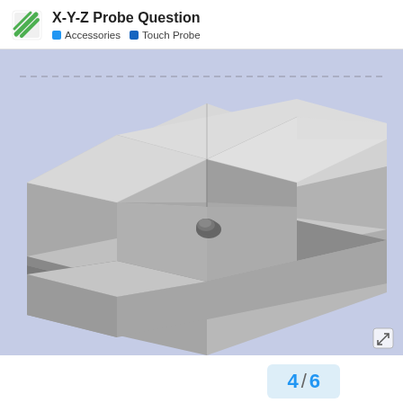X-Y-Z Probe Question
Accessories  Touch Probe
[Figure (engineering-diagram): 3D CAD rendering of a square block workpiece with a cross-shaped slot cut through the center, shown in isometric view on a light blue-purple background. The block appears to be a metallic or plastic material shown in light grey, with a notch/ball-end at the intersection of the slots.]
4 / 6